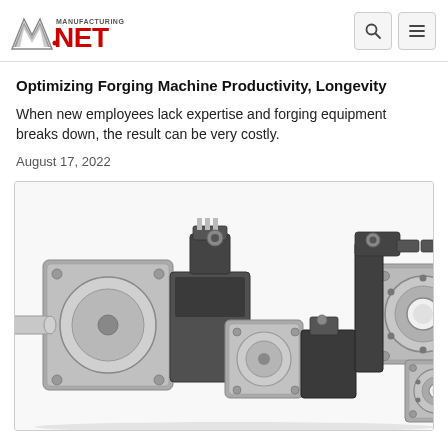Manufacturing.net
Optimizing Forging Machine Productivity, Longevity
When new employees lack expertise and forging equipment breaks down, the result can be very costly.
August 17, 2022
[Figure (photo): Multiple servo motors and actuators of various sizes arranged in a group, showing both solid-shaft and hollow-shaft configurations with connectors and mounting flanges, on white background.]